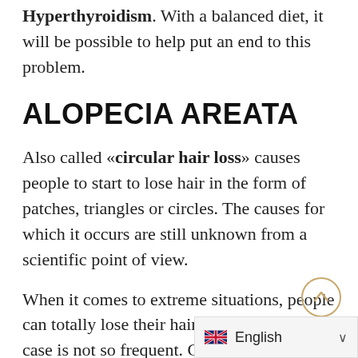Hyperthyroidism. With a balanced diet, it will be possible to help put an end to this problem.
ALOPECIA AREATA
Also called «circular hair loss» causes people to start to lose hair in the form of patches, triangles or circles. The causes for which it occurs are still unknown from a scientific point of view.
When it comes to extreme situations, people can totally lose their hair. But this type of case is not so frequent. Generally, people with alopecia areata…